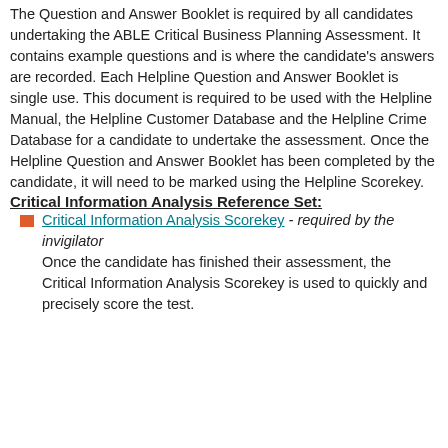The Question and Answer Booklet is required by all candidates undertaking the ABLE Critical Business Planning Assessment. It contains example questions and is where the candidate's answers are recorded. Each Helpline Question and Answer Booklet is single use. This document is required to be used with the Helpline Manual, the Helpline Customer Database and the Helpline Crime Database for a candidate to undertake the assessment. Once the Helpline Question and Answer Booklet has been completed by the candidate, it will need to be marked using the Helpline Scorekey.
Critical Information Analysis Reference Set:
Critical Information Analysis Scorekey - required by the invigilator
Once the candidate has finished their assessment, the Critical Information Analysis Scorekey is used to quickly and precisely score the test.